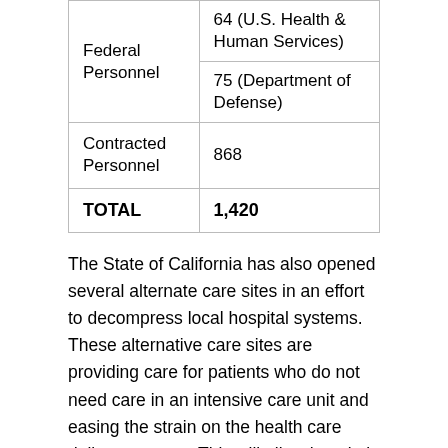| Federal Personnel | 64 (U.S. Health & Human Services)
75 (Department of Defense) |
| Contracted Personnel | 868 |
| TOTAL | 1,420 |
The State of California has also opened several alternate care sites in an effort to decompress local hospital systems. These alternative care sites are providing care for patients who do not need care in an intensive care unit and easing the strain on the health care delivery system. This will allow hospitals